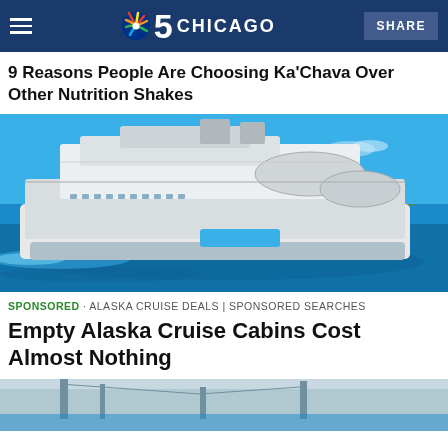NBC 5 CHICAGO · SHARE
9 Reasons People Are Choosing Ka’Chava Over Other Nutrition Shakes
[Figure (photo): Aerial view of a large modern cruise ship on blue ocean water near an island]
SPONSORED · ALASKA CRUISE DEALS | SPONSORED SEARCHES
Empty Alaska Cruise Cabins Cost Almost Nothing
[Figure (photo): Partial bottom image showing another cruise-related photo, partially visible]